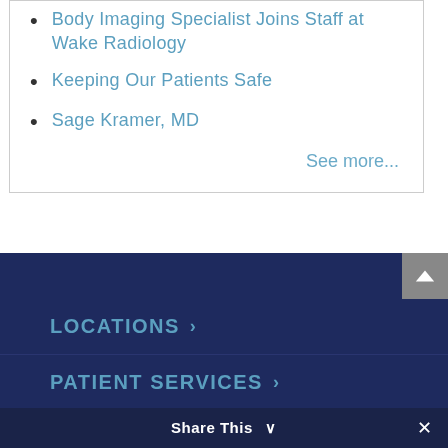Body Imaging Specialist Joins Staff at Wake Radiology
Keeping Our Patients Safe
Sage Kramer, MD
See more...
LOCATIONS ›
PATIENT SERVICES ›
PROVIDER SERVICES ›
Share This ∨
✕